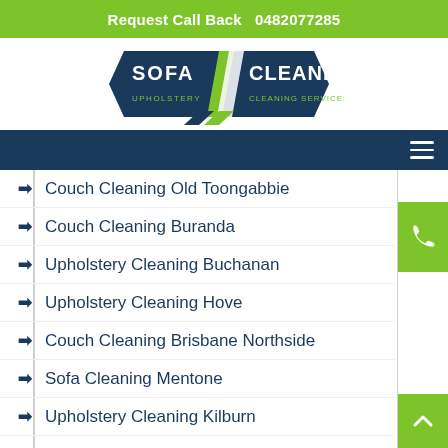Request Call Back  0482077285
[Figure (logo): Sofa / Cleaning Upholstery Cleaning Services logo with dark blue pentagon shapes and white text]
Couch Cleaning Old Toongabbie
Couch Cleaning Buranda
Upholstery Cleaning Buchanan
Upholstery Cleaning Hove
Couch Cleaning Brisbane Northside
Sofa Cleaning Mentone
Upholstery Cleaning Kilburn
Couch Cleaning Banksmeadow
Couch Cleaning Cromer